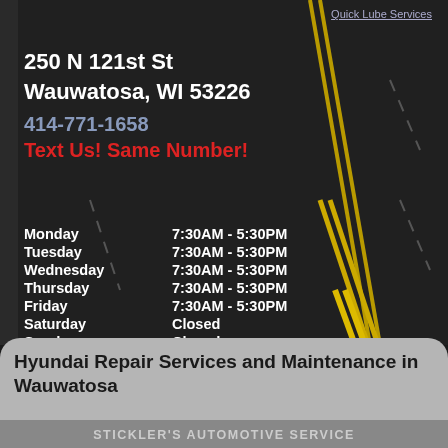Quick Lube Services
250 N 121st St
Wauwatosa, WI 53226
414-771-1658
Text Us! Same Number!
| Day | Hours |
| --- | --- |
| Monday | 7:30AM - 5:30PM |
| Tuesday | 7:30AM - 5:30PM |
| Wednesday | 7:30AM - 5:30PM |
| Thursday | 7:30AM - 5:30PM |
| Friday | 7:30AM - 5:30PM |
| Saturday | Closed |
| Sunday | Closed |
Hyundai Repair Services and Maintenance in Wauwatosa
STICKLER'S AUTOMOTIVE SERVICE